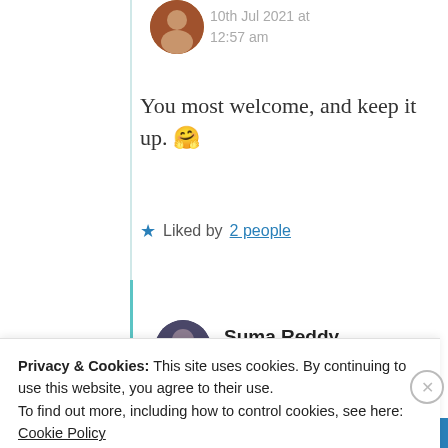10th Jul 2021 at 12:57 am
You most welcome, and keep it up. 🤗
★ Liked by 2 people
Suma Reddy
10th Jul 2021 at
Privacy & Cookies: This site uses cookies. By continuing to use this website, you agree to their use. To find out more, including how to control cookies, see here: Cookie Policy
Close and accept